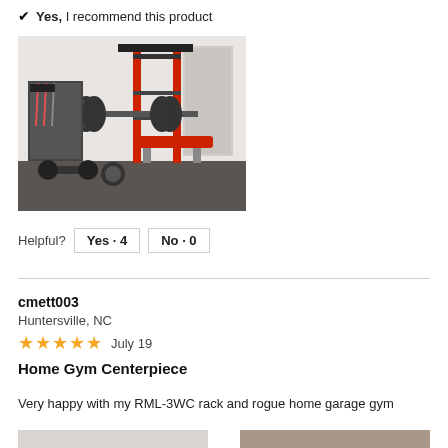✔ Yes, I recommend this product
[Figure (photo): Home gym photo showing a red power rack/squat rack with a barbell and plates, bench, and various other gym equipment in a garage setting]
Helpful?  Yes · 4    No · 0
cmett003
Huntersville, NC
★★★★★  July 19
Home Gym Centerpiece
Very happy with my RML-3WC rack and rogue home garage gym
[Figure (photo): Partial photos at the bottom of the page (two cropped images)]